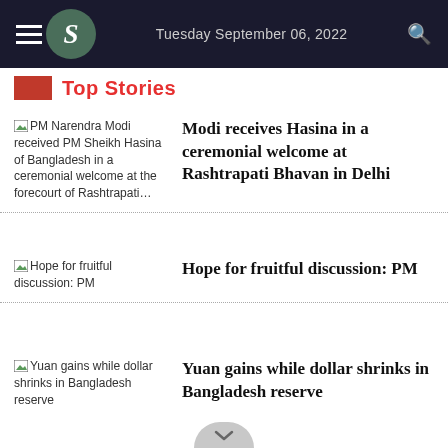Tuesday September 06, 2022
Top Stories
[Figure (photo): PM Narendra Modi received PM Sheikh Hasina of Bangladesh in a ceremonial welcome at the forecourt of Rashtrapati]
Modi receives Hasina in a ceremonial welcome at Rashtrapati Bhavan in Delhi
[Figure (photo): Hope for fruitful discussion: PM]
Hope for fruitful discussion: PM
[Figure (photo): Yuan gains while dollar shrinks in Bangladesh reserve]
Yuan gains while dollar shrinks in Bangladesh reserve